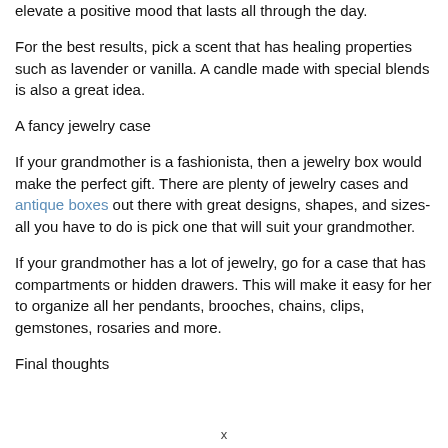elevate a positive mood that lasts all through the day.
For the best results, pick a scent that has healing properties such as lavender or vanilla. A candle made with special blends is also a great idea.
A fancy jewelry case
If your grandmother is a fashionista, then a jewelry box would make the perfect gift. There are plenty of jewelry cases and antique boxes out there with great designs, shapes, and sizes- all you have to do is pick one that will suit your grandmother.
If your grandmother has a lot of jewelry, go for a case that has compartments or hidden drawers. This will make it easy for her to organize all her pendants, brooches, chains, clips, gemstones, rosaries and more.
Final thoughts
x